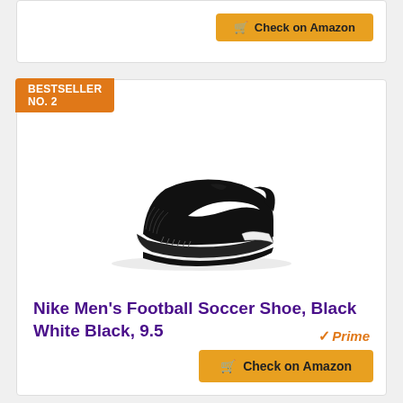[Figure (other): Partial product card from previous listing with Check on Amazon button]
BESTSELLER NO. 2
[Figure (photo): Nike Men's Football Soccer Shoe in black and white colorway, side view showing Nike swoosh logo]
Nike Men's Football Soccer Shoe, Black White Black, 9.5
Prime
Check on Amazon